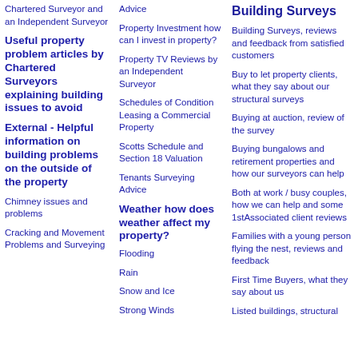Chartered Surveyor and an Independent Surveyor
Useful property problem articles by Chartered Surveyors explaining building issues to avoid
External - Helpful information on building problems on the outside of the property
Chimney issues and problems
Cracking and Movement Problems and Surveying
Advice
Property Investment how can I invest in property?
Property TV Reviews by an Independent Surveyor
Schedules of Condition Leasing a Commercial Property
Scotts Schedule and Section 18 Valuation
Tenants Surveying Advice
Weather how does weather affect my property?
Flooding
Rain
Snow and Ice
Strong Winds
Building Surveys
Building Surveys, reviews and feedback from satisfied customers
Buy to let property clients, what they say about our structural surveys
Buying at auction, review of the survey
Buying bungalows and retirement properties and how our surveyors can help
Both at work / busy couples, how we can help and some 1stAssociated client reviews
Families with a young person flying the nest, reviews and feedback
First Time Buyers, what they say about us
Listed buildings, structural